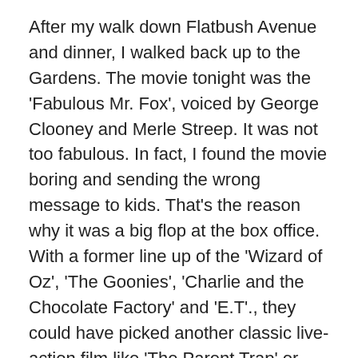After my walk down Flatbush Avenue and dinner, I walked back up to the Gardens. The movie tonight was the 'Fabulous Mr. Fox', voiced by George Clooney and Merle Streep. It was not too fabulous. In fact, I found the movie boring and sending the wrong message to kids. That's the reason why it was a big flop at the box office. With a former line up of the 'Wizard of Oz', 'The Goonies', 'Charlie and the Chocolate Factory' and 'E.T'., they could have picked another classic live-action film like 'The Parent Trap' or 'Freaky Friday'. They even cut out the free popcorn that they have every year. I could tell someone new was running it.
Still the gardens were in bloom and it was a beautiful warm, non-muggy night (79 degrees) to sit on the lawn and enjoy the film. The place is testament to families as it is like a step back into the 70's with kids running around in